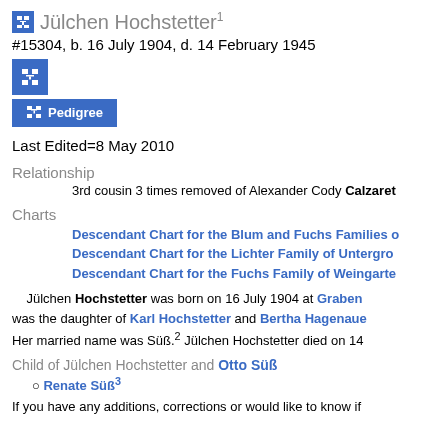Jülchen Hochstetter1
#15304, b. 16 July 1904, d. 14 February 1945
Last Edited=8 May 2010
Relationship
3rd cousin 3 times removed of Alexander Cody Calzaret
Charts
Descendant Chart for the Blum and Fuchs Families o
Descendant Chart for the Lichter Family of Untergro
Descendant Chart for the Fuchs Family of Weingarte
Jülchen Hochstetter was born on 16 July 1904 at Graben was the daughter of Karl Hochstetter and Bertha Hagenaue Her married name was Süß.2 Jülchen Hochstetter died on 14
Child of Jülchen Hochstetter and Otto Süß
Renate Süß3
If you have any additions, corrections or would like to know if